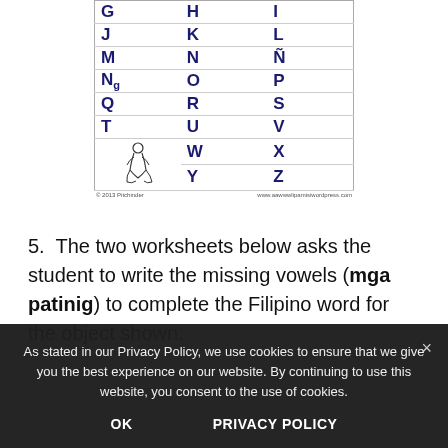[Figure (illustration): Filipino alphabet chart showing letters G through Z in three columns with writing lines, and a small illustration of a sitting person. Footer shows copyright and website.]
5.  The two worksheets below asks the student to write the missing vowels (mga patinig) to complete the Filipino word for the object shown.
As stated in our Privacy Policy, we use cookies to ensure that we give you the best experience on our website. By continuing to use this website, you consent to the use of cookies.
OK    PRIVACY POLICY